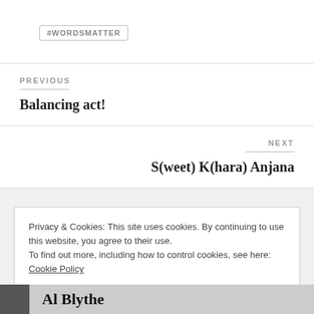#WORDSMATTER
PREVIOUS
Balancing act!
NEXT
S(weet) K(hara) Anjana
Privacy & Cookies: This site uses cookies. By continuing to use this website, you agree to their use.
To find out more, including how to control cookies, see here: Cookie Policy
Close and accept
Al Blythe